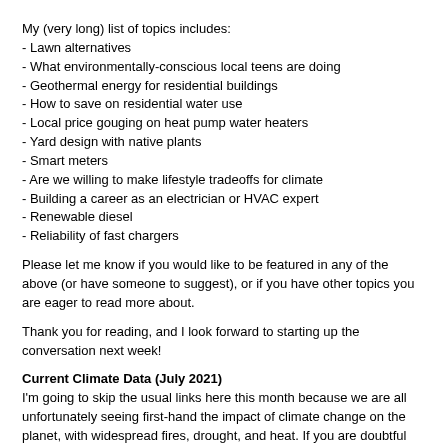My (very long) list of topics includes:
- Lawn alternatives
- What environmentally-conscious local teens are doing
- Geothermal energy for residential buildings
- How to save on residential water use
- Local price gouging on heat pump water heaters
- Yard design with native plants
- Smart meters
- Are we willing to make lifestyle tradeoffs for climate
- Building a career as an electrician or HVAC expert
- Renewable diesel
- Reliability of fast chargers
Please let me know if you would like to be featured in any of the above (or have someone to suggest), or if you have other topics you are eager to read more about.
Thank you for reading, and I look forward to starting up the conversation next week!
Current Climate Data (July 2021)
I'm going to skip the usual links here this month because we are all unfortunately seeing first-hand the impact of climate change on the planet, with widespread fires, drought, and heat. If you are doubtful that these